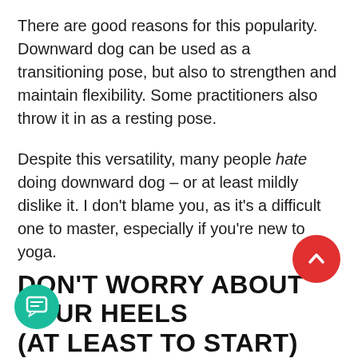There are good reasons for this popularity. Downward dog can be used as a transitioning pose, but also to strengthen and maintain flexibility. Some practitioners also throw it in as a resting pose.
Despite this versatility, many people hate doing downward dog – or at least mildly dislike it. I don't blame you, as it's a difficult one to master, especially if you're new to yoga.
For this reason, I've put together six essential tips for improving your alignment and getting more out of your downward dog.
DON'T WORRY ABOUT YOUR HEELS (AT LEAST TO START)